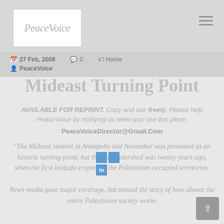PeaceVoice
27 Feb, 2008   0   Home   PeaceVoice
Mideast Turning Point
AVAILABLE FOR REPRINT. Copy and use freely. Please help PeaceVoice by notifying us when you use this piece: PeaceVoiceDirector@Gmail.Com
"The Mideast summit in Annapolis last November was promoted as an historic turning point, but the real watershed was twenty years ago, when the first intifada erupted in the Palestinian occupied territories. News media gave major coverage, but missed the story of how almost the entire Palestinian society worked its way to Israeli military courts. A notable...